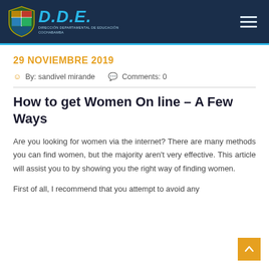D.D.E. — Dirección Departamental de Educación Cochabamba
29 NOVIEMBRE 2019
By: sandivel mirande   Comments: 0
How to get Women On line – A Few Ways
Are you looking for women via the internet? There are many methods you can find women, but the majority aren't very effective. This article will assist you to by showing you the right way of finding women.
First of all, I recommend that you attempt to avoid any